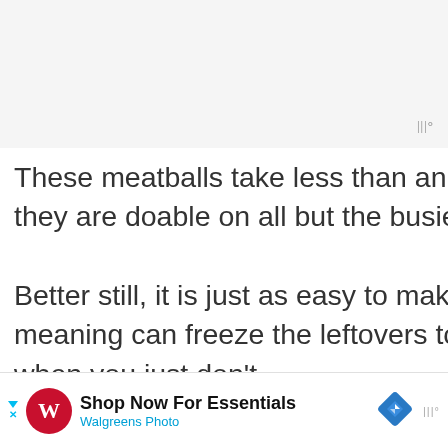[Figure (screenshot): Light grey top area placeholder for image]
These meatballs take less than an hour to make – meaning they are doable on all but the busiest of weeknights.

Better still, it is just as easy to make a double quantity of them, meaning can freeze the leftovers to have on really busy night when you just don't
[Figure (infographic): Green heart favourite button with count 337 and share button]
[Figure (infographic): What's Next widget showing Easy Homemade... with food thumbnail]
[Figure (screenshot): Advertisement bar: Shop Now For Essentials - Walgreens Photo]